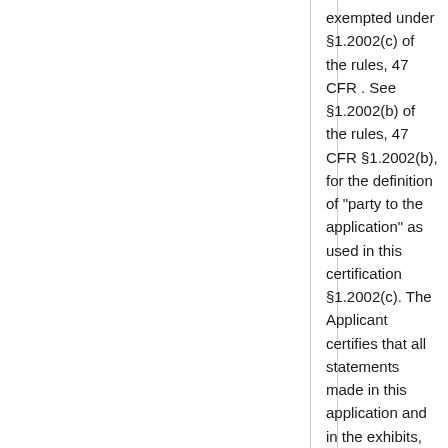exempted under §1.2002(c) of the rules, 47 CFR . See §1.2002(b) of the rules, 47 CFR §1.2002(b), for the definition of "party to the application" as used in this certification §1.2002(c). The Applicant certifies that all statements made in this application and in the exhibits, attachments, or documents incorporated by reference are material, are part of this application, and are true, complete